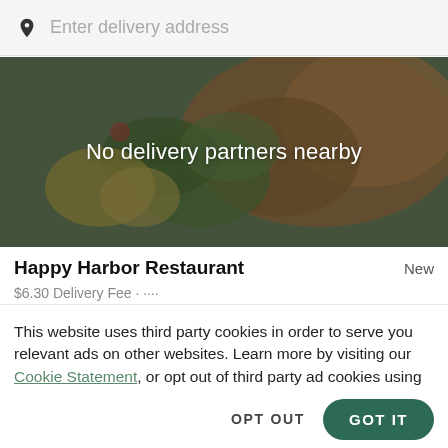Enter delivery address
[Figure (photo): Food hero image with grilled meat and herbs, overlaid with semi-transparent dark overlay and text 'No delivery partners nearby']
Happy Harbor Restaurant
$6.30 Delivery Fee · ····
This website uses third party cookies in order to serve you relevant ads on other websites. Learn more by visiting our Cookie Statement, or opt out of third party ad cookies using the button below.
OPT OUT
GOT IT